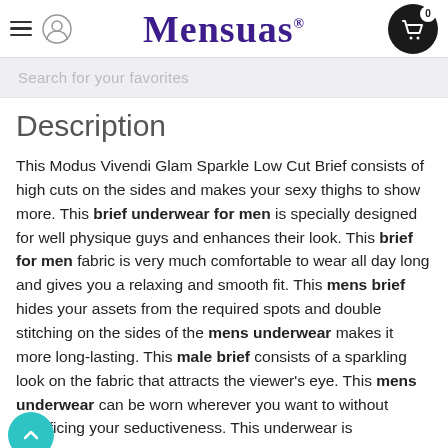Mensuas
Search for your favorites
Description
This Modus Vivendi Glam Sparkle Low Cut Brief consists of high cuts on the sides and makes your sexy thighs to show more. This brief underwear for men is specially designed for well physique guys and enhances their look. This brief for men fabric is very much comfortable to wear all day long and gives you a relaxing and smooth fit. This mens brief hides your assets from the required spots and double stitching on the sides of the mens underwear makes it more long-lasting. This male brief consists of a sparkling look on the fabric that attracts the viewer's eye. This mens underwear can be worn wherever you want to without sacrificing your seductiveness. This underwear is